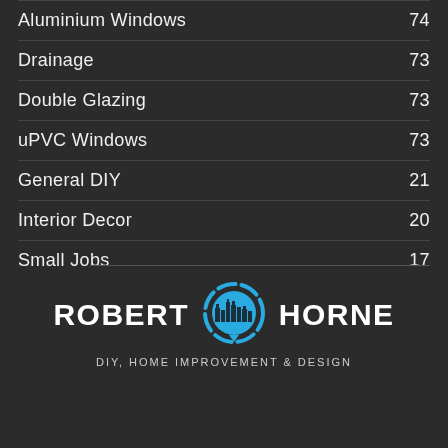Aluminium Windows    74
Drainage    73
Double Glazing    73
uPVC Windows    73
General DIY    21
Interior Decor    20
Small Jobs    17
[Figure (logo): Robert Horne logo — circular blue city skyline icon between the words ROBERT and HORNE in bold white uppercase, with tagline DIY, HOME IMPROVEMENT & DESIGN below in spaced uppercase letters]